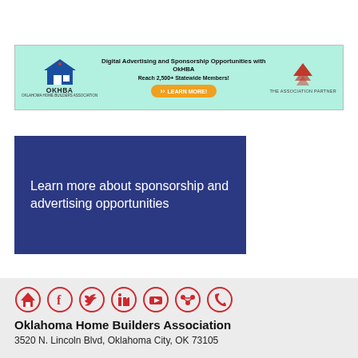[Figure (infographic): OkHBA banner ad with mint green background, OKHBA logo on left, center text 'Digital Advertising and Sponsorship Opportunities with OkHBA' and 'Reach 2,500+ Statewide Members!' with orange LEARN MORE button, and The Association Partner logo/text on right]
[Figure (infographic): Dark navy blue rectangular box with white text reading 'Learn more about sponsorship and advertising opportunities']
[Figure (infographic): Row of 7 red circular social media icons: home, Facebook, Twitter, LinkedIn, YouTube, a grouped icon, and phone]
Oklahoma Home Builders Association
3520 N. Lincoln Blvd, Oklahoma City, OK 73105